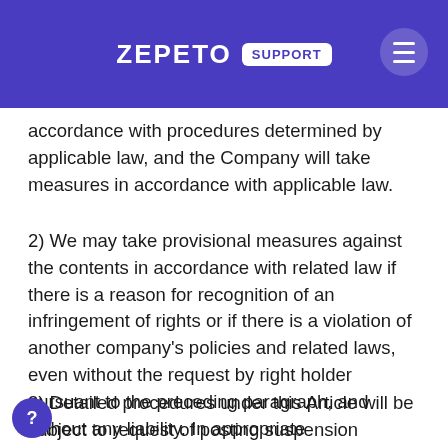ZEPETO SUPPORT
accordance with procedures determined by applicable law, and the Company will take measures in accordance with applicable law.
2) We may take provisional measures against the contents in accordance with related law if there is a reason for recognition of an infringement of rights or if there is a violation of another company's policies and related laws, even without the request by right holder pursuant to the preceding paragraph, and without any liability. In appropriate circumstances, the Company will also terminate user's account if the user is determined to infringe repeatedly.
3) Detailed procedures under this Article will be subject to request of posting suspension service provided by the